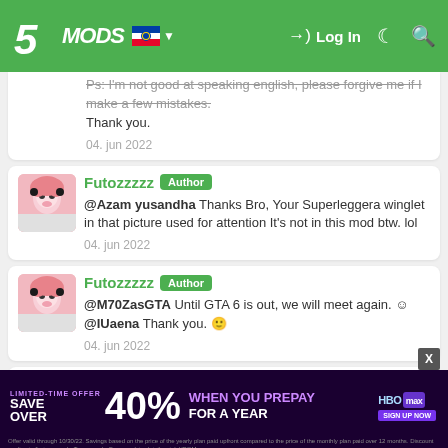5MODS — Log In
Ps: I'm not good at speaking english, please forgive me if I make a few mistakes.
Thank you.
04. jun 2022
Futozzzzz Author
@Azam yusandha Thanks Bro, Your Superleggera winglet in that picture used for attention It's not in this mod btw. lol
04. jun 2022
Futozzzzz Author
@M70ZasGTA Until GTA 6 is out, we will meet again. ☺
@IUaena Thank you. 🙂
04. jun 2022
[Figure (infographic): HBO Max advertisement banner: LIMITED-TIME OFFER SAVE OVER 40% WHEN YOU PREPAY FOR A YEAR]